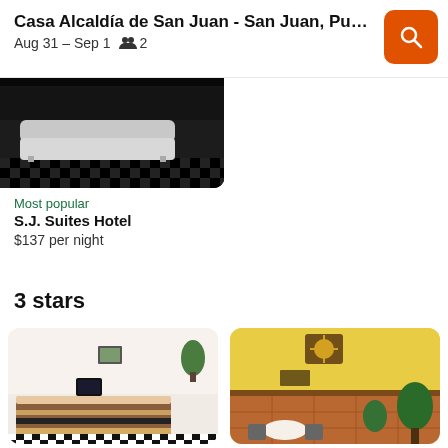Casa Alcaldía de San Juan - San Juan, Puerto... Aug 31 – Sep 1  2
[Figure (photo): Hotel room interior with white sofas on dark checkered floor, partial view]
Most popular
S.J. Suites Hotel
$137 per night
3 stars
[Figure (photo): Hotel reception desk with brown and black striped counter, plants, monitor, checkered floor]
[Figure (photo): Courtyard with yellow walls, sun ornament, terracotta floor, plants and dining tables]